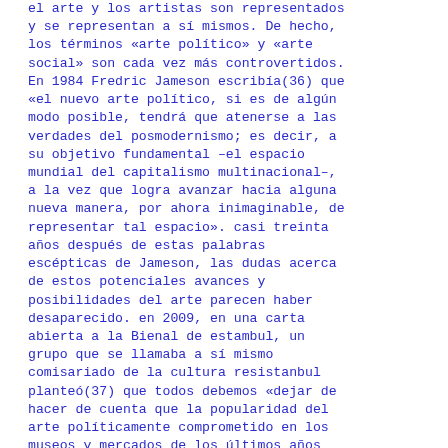el arte y los artistas son representados y se representan a sí mismos. De hecho, los términos «arte político» y «arte social» son cada vez más controvertidos. En 1984 Fredric Jameson escribía(36) que «el nuevo arte político, si es de algún modo posible, tendrá que atenerse a las verdades del posmodernismo; es decir, a su objetivo fundamental –el espacio mundial del capitalismo multinacional–, a la vez que logra avanzar hacia alguna nueva manera, por ahora inimaginable, de representar tal espacio». casi treinta años después de estas palabras escépticas de Jameson, las dudas acerca de estos potenciales avances y posibilidades del arte parecen haber desaparecido. en 2009, en una carta abierta a la Bienal de estambul, un grupo que se llamaba a sí mismo comisariado de la cultura resistanbul planteó(37) que todos debemos «dejar de hacer de cuenta que la popularidad del arte políticamente comprometido en los museos y mercados de los últimos años tiene la más mínima relación con algún cambio real en el mundo. Debemos dejar de fingir que correr riesgos en el espacio del arte, ampliar los límites de las formas y desobedecer las convenciones de la cultura para producir arte acerca de la política puede